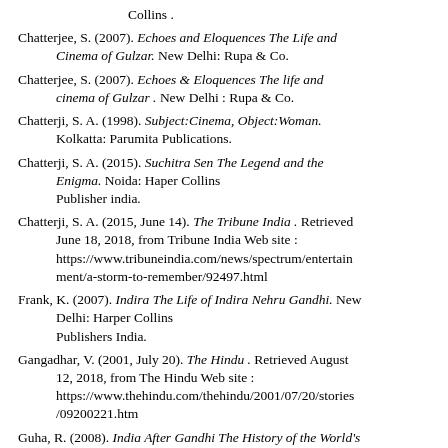Collins .
Chatterjee, S. (2007). Echoes and Eloquences The Life and Cinema of Gulzar. New Delhi: Rupa & Co.
Chatterjee, S. (2007). Echoes & Eloquences The life and cinema of Gulzar . New Delhi : Rupa & Co.
Chatterji, S. A. (1998). Subject:Cinema, Object:Woman. Kolkatta: Parumita Publications.
Chatterji, S. A. (2015). Suchitra Sen The Legend and the Enigma. Noida: Haper Collins Publisher india.
Chatterji, S. A. (2015, June 14). The Tribune India . Retrieved June 18, 2018, from Tribune India Web site : https://www.tribuneindia.com/news/spectrum/entertainment/a-storm-to-remember/92497.html
Frank, K. (2007). Indira The Life of Indira Nehru Gandhi. New Delhi: Harper Collins Publishers India.
Gangadhar, V. (2001, July 20). The Hindu . Retrieved August 12, 2018, from The Hindu Web site : https://www.thehindu.com/thehindu/2001/07/20/stories/09200221.htm
Guha, R. (2008). India After Gandhi The History of the World's Largest Democracy. London: Picador.
Gulzar (Director). (1971). Mere Apne [Motion Picture].
Gulzar. (2019, February 18). Portrayal of Women in films directed by Gulzar. (D. D. Chamola, Interviewer)